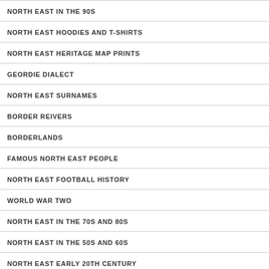NORTH EAST IN THE 90S
NORTH EAST HOODIES AND T-SHIRTS
NORTH EAST HERITAGE MAP PRINTS
GEORDIE DIALECT
NORTH EAST SURNAMES
BORDER REIVERS
BORDERLANDS
FAMOUS NORTH EAST PEOPLE
NORTH EAST FOOTBALL HISTORY
WORLD WAR TWO
NORTH EAST IN THE 70S AND 80S
NORTH EAST IN THE 50S AND 60S
NORTH EAST EARLY 20TH CENTURY